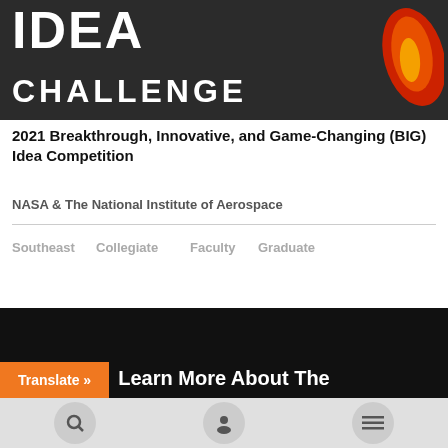[Figure (logo): BIG IDEA CHALLENGE logo — dark gray banner with white bold text 'IDEA CHALLENGE' and an orange/red flame graphic on the right]
2021 Breakthrough, Innovative, and Game-Changing (BIG) Idea Competition
NASA & The National Institute of Aerospace
Southeast
Collegiate
Faculty
Graduate
Learn More About The
Translate »